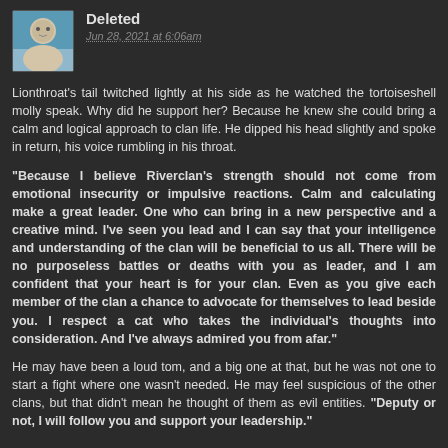Deleted
Jun 28, 2021 at 6:06am
Lionthroat's tail twitched lightly at his side as he watched the tortoiseshell molly speak. Why did he support her? Because he knew she could bring a calm and logical approach to clan life. He dipped his head slightly and spoke in return, his voice rumbling in his throat.
"Because I believe Riverclan's strength should not come from emotional insecurity or impulsive reactions. Calm and calculating make a great leader. One who can bring in a new perspective and a creative mind. I've seen you lead and I can say that your intelligence and understanding of the clan will be beneficial to us all. There will be no purposeless battles or deaths with you as leader, and I am confident that your heart is for your clan. Even as you give each member of the clan a chance to advocate for themselves to lead beside you. I respect a cat who takes the individual's thoughts into consideration. And I've always admired you from afar."
He may have been a loud tom, and a big one at that, but he was not one to start a fight where one wasn't needed. He may feel suspicious of the other clans, but that didn't mean he thought of them as evil entities. "Deputy or not, I will follow you and support your leadership."